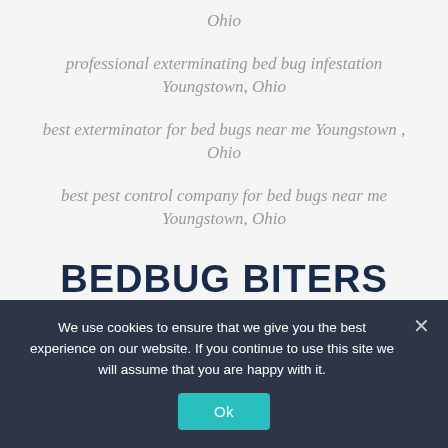Ohio
professional exterminating bed bug infestation Youngstown, Ohio
best exterminator for bed bugs near me Youngstown , Ohio
best pest control company for bed bugs near me Youngstown, Ohio
BEDBUG BITERS SERVICE PROGRAMS
We use cookies to ensure that we give you the best experience on our website. If you continue to use this site we will assume that you are happy with it.